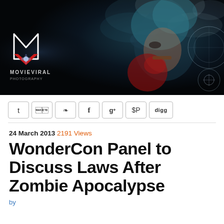[Figure (photo): MovieViral website banner with dark background showing a woman with teal-dyed hair smoking a cigar and wearing a red glove, surrounded by smoke, alongside the MovieViral logo (stylized M with red chevron) and site name in white text.]
y  reddit  stumble  f  g+  pinterest  digg (social sharing buttons)
24 March 2013 2191 Views
WonderCon Panel to Discuss Laws After Zombie Apocalypse
by ...